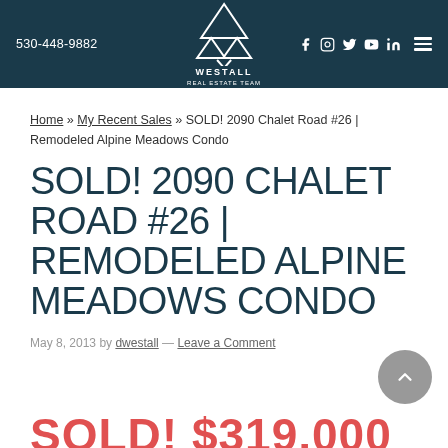530-448-9882 | Westall Real Estate Team | (social icons) | (menu)
Home » My Recent Sales » SOLD! 2090 Chalet Road #26 | Remodeled Alpine Meadows Condo
SOLD! 2090 CHALET ROAD #26 | REMODELED ALPINE MEADOWS CONDO
May 8, 2013 by dwestall — Leave a Comment
SOLD! $319,000